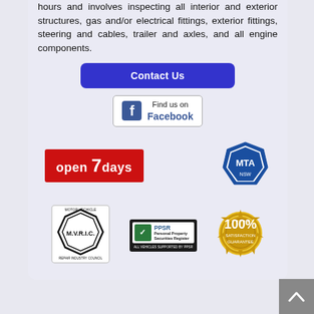hours and involves inspecting all interior and exterior structures, gas and/or electrical fittings, exterior fittings, steering and cables, trailer and axles, and all engine components.
[Figure (illustration): Blue rounded-rectangle Contact Us button]
[Figure (logo): Find us on Facebook badge with Facebook icon]
[Figure (logo): Open 7 days red badge logo]
[Figure (logo): MTA NSW blue logo badge]
[Figure (logo): Motor Vehicle Repair Industry Council (M.V.R.I.C.) circular badge]
[Figure (logo): PPSR Personal Property Securities Register badge - All vehicles supported by PPSR]
[Figure (logo): 100% Satisfaction Guarantee gold seal badge]